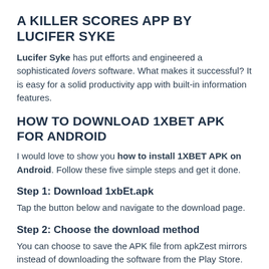A KILLER SCORES APP BY LUCIFER SYKE
Lucifer Syke has put efforts and engineered a sophisticated lovers software. What makes it successful? It is easy for a solid productivity app with built-in information features.
HOW TO DOWNLOAD 1XBET APK FOR ANDROID
I would love to show you how to install 1XBET APK on Android. Follow these five simple steps and get it done.
Step 1: Download 1xbEt.apk
Tap the button below and navigate to the download page.
Step 2: Choose the download method
You can choose to save the APK file from apkZest mirrors instead of downloading the software from the Play Store. Have in mind that some apps and games